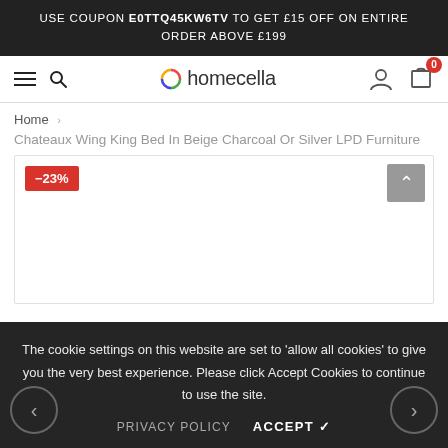USE COUPON E0TTQ45KW6TV TO GET £15 OFF ON ENTIRE ORDER ABOVE £199
[Figure (screenshot): Homecella website navigation bar with hamburger menu, search icon, Homecella logo, user account icon, and cart icon with badge showing 0]
Home > Chateaux Wing King Bed In Beige Charcoal Or Silver LPD Furniture
[Figure (other): Product image area showing -23% discount badge in red and a scroll-to-top button in grey]
The cookie settings on this website are set to 'allow all cookies' to give you the very best experience. Please click Accept Cookies to continue to use the site.
PRIVACY POLICY   ACCEPT ✔